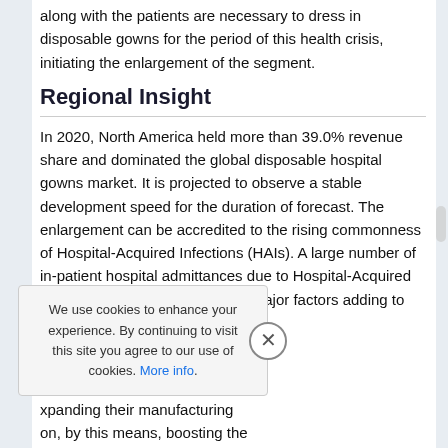along with the patients are necessary to dress in disposable gowns for the period of this health crisis, initiating the enlargement of the segment.
Regional Insight
In 2020, North America held more than 39.0% revenue share and dominated the global disposable hospital gowns market. It is projected to observe a stable development speed for the duration of forecast. The enlargement can be accredited to the rising commonness of Hospital-Acquired Infections (HAIs). A large number of in-patient hospital admittances due to Hospital-Acquired Infections (HAIs) are one of the major factors adding to the expansion of the local market.
l, more than 80.0% gowns are product use the U.S. is one of counter the growing demand, xpanding their manufacturing on, by this means, boosting the
We use cookies to enhance your experience. By continuing to visit this site you agree to our use of cookies. More info.